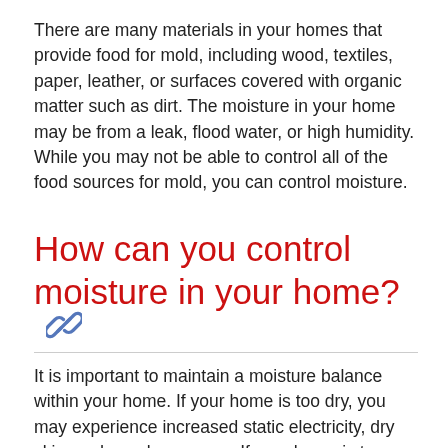There are many materials in your homes that provide food for mold, including wood, textiles, paper, leather, or surfaces covered with organic matter such as dirt. The moisture in your home may be from a leak, flood water, or high humidity. While you may not be able to control all of the food sources for mold, you can control moisture.
How can you control moisture in your home?
It is important to maintain a moisture balance within your home. If your home is too dry, you may experience increased static electricity, dry skin, and nasal passages. If your home is too moist, mold growth may occur. Below are some tips to help maintain a moisture balance within your home. The EPA suggests keeping indoor humidity below 60% relative humidity, ideally between 30 and 50 percent.